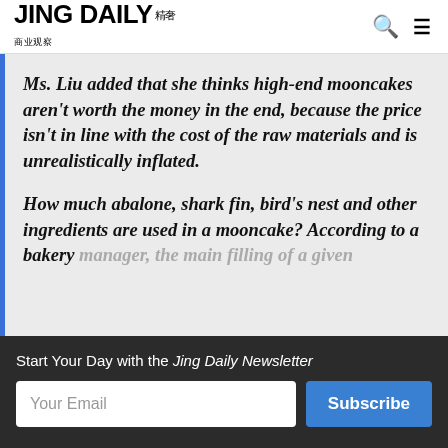JING DAILY 精奢
Ms. Liu added that she thinks high-end mooncakes aren't worth the money in the end, because the price isn't in line with the cost of the raw materials and is unrealistically inflated.
How much abalone, shark fin, bird's nest and other ingredients are used in a mooncake? According to a bakery manager, the main filling of a given
Start Your Day with the Jing Daily Newsletter